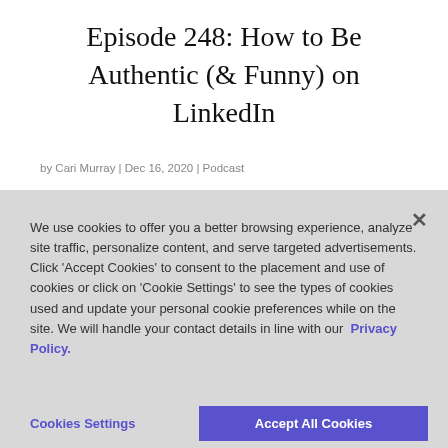Episode 248: How to Be Authentic (& Funny) on LinkedIn
by Cari Murray | Dec 16, 2020 | Podcast
We use cookies to offer you a better browsing experience, analyze site traffic, personalize content, and serve targeted advertisements. Click 'Accept Cookies' to consent to the placement and use of cookies or click on 'Cookie Settings' to see the types of cookies used and update your personal cookie preferences while on the site. We will handle your contact details in line with our Privacy Policy.
Cookies Settings
Accept All Cookies